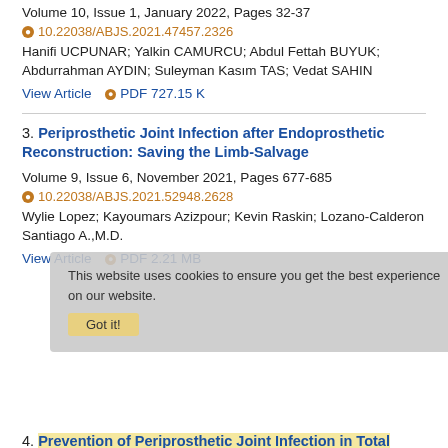Volume 10, Issue 1, January 2022, Pages 32-37
10.22038/ABJS.2021.47457.2326
Hanifi UCPUNAR; Yalkin CAMURCU; Abdul Fettah BUYUK; Abdurrahman AYDIN; Suleyman Kasım TAS; Vedat SAHIN
View Article  PDF 727.15 K
3. Periprosthetic Joint Infection after Endoprosthetic Reconstruction: Saving the Limb-Salvage
Volume 9, Issue 6, November 2021, Pages 677-685
10.22038/ABJS.2021.52948.2628
Wylie Lopez; Kayoumars Azizpour; Kevin Raskin; Lozano-Calderon Santiago A.,M.D.
View Article  PDF 2.21 MB
This website uses cookies to ensure you get the best experience on our website.
4. Prevention of Periprosthetic Joint Infection in Total Knee Arthroplasty: Main Studies Reported Between November 2017 and January 2020